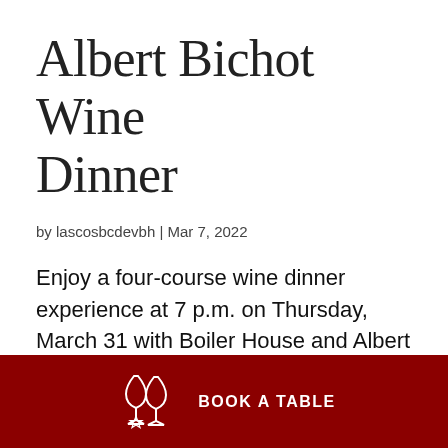Albert Bichot Wine Dinner
by lascosbcdevbh | Mar 7, 2022
Enjoy a four-course wine dinner experience at 7 p.m. on Thursday, March 31 with Boiler House and Albert Bichot Wine. Tickets are $95 (tax and gratuity not included), and there is limited seating available. ORDER TICKETS NOW! VIEW MENU
[Figure (illustration): Wine glasses icon (two overlapping wine glasses with a star, outline style in white) with 'BOOK A TABLE' text, on a dark red background footer bar]